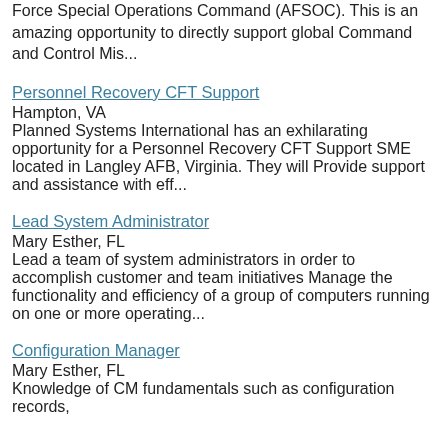Force Special Operations Command (AFSOC). This is an amazing opportunity to directly support global Command and Control Mis...
Personnel Recovery CFT Support
Hampton, VA
Planned Systems International has an exhilarating opportunity for a Personnel Recovery CFT Support SME located in Langley AFB, Virginia. They will Provide support and assistance with eff...
Lead System Administrator
Mary Esther, FL
Lead a team of system administrators in order to accomplish customer and team initiatives Manage the functionality and efficiency of a group of computers running on one or more operating...
Configuration Manager
Mary Esther, FL
Knowledge of CM fundamentals such as configuration records,